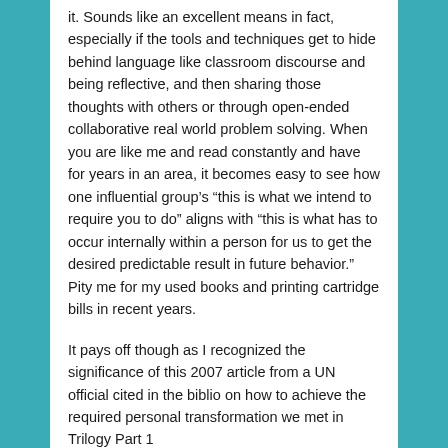it. Sounds like an excellent means in fact, especially if the tools and techniques get to hide behind language like classroom discourse and being reflective, and then sharing those thoughts with others or through open-ended collaborative real world problem solving. When you are like me and read constantly and have for years in an area, it becomes easy to see how one influential group's “this is what we intend to require you to do” aligns with “this is what has to occur internally within a person for us to get the desired predictable result in future behavior.” Pity me for my used books and printing cartridge bills in recent years.
It pays off though as I recognized the significance of this 2007 article from a UN official cited in the biblio on how to achieve the required personal transformation we met in Trilogy Part 1 http://www.kosmosjournal.org/article/personal-to-planetary-transformation/ . I don’t know about you but I am tired of public officials telling me that there is a “new science of consciousness” that must be allowed to